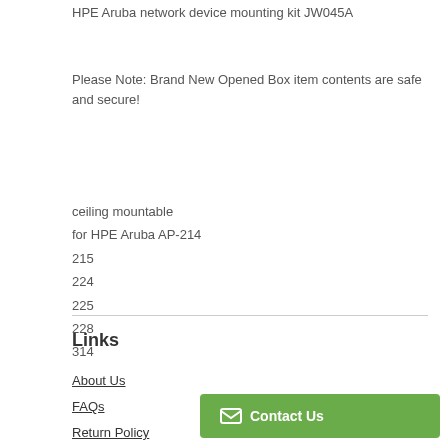HPE Aruba network device mounting kit JW045A
Please Note: Brand New Opened Box item contents are safe and secure!
ceiling mountable
for HPE Aruba AP-214
215
224
225
228
314
Links
About Us
FAQs
Return Policy